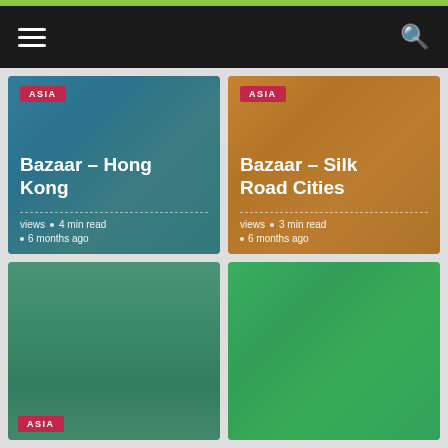[Figure (screenshot): Navigation bar with hamburger menu icon on left and search icon on right, dark background]
[Figure (photo): Article card for Bazaar – Hong Kong with blue/teal overlay, ASIA badge, title, views, 4 min read, 6 months ago]
[Figure (photo): Article card for Bazaar – Silk Road Cities with orange overlay, ASIA badge, title, views, 3 min read, 6 months ago]
[Figure (photo): Article card bottom left with green/teal overlay, partially visible, red badge at bottom]
[Figure (photo): Article card bottom right with green overlay, partially visible]